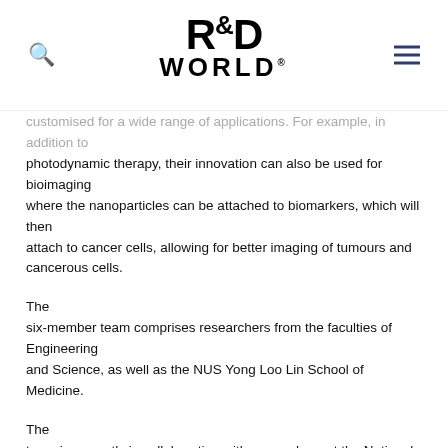R&D WORLD [logo with search and menu icons]
customised for a wide range of applications. For example, in addition to photodynamic therapy, their innovation can also be used for bioimaging where the nanoparticles can be attached to biomarkers, which will then attach to cancer cells, allowing for better imaging of tumours and cancerous cells.
The six-member team comprises researchers from the faculties of Engineering and Science, as well as the NUS Yong Loo Lin School of Medicine.
The team is currently in collaboration with researchers at the National